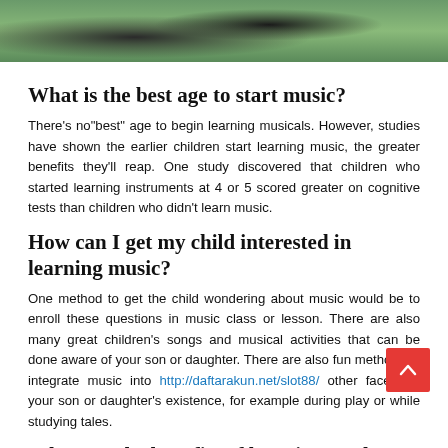[Figure (photo): Photo of a person playing guitar outdoors, partially cropped at top]
What is the best age to start music?
There's no"best" age to begin learning musicals. However, studies have shown the earlier children start learning music, the greater benefits they'll reap. One study discovered that children who started learning instruments at 4 or 5 scored greater on cognitive tests than children who didn't learn music.
How can I get my child interested in learning music?
One method to get the child wondering about music would be to enroll these questions in music class or lesson. There are also many great children's songs and musical activities that can be done aware of your son or daughter. There are also fun methods to integrate music into http://daftarakun.net/slot88/ other facets of your son or daughter's existence, for example during play or while studying tales.
What are the benefits of learning to play an instrument?